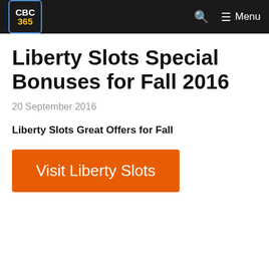CBC 365 — Menu
Liberty Slots Special Bonuses for Fall 2016
20 September 2016
Liberty Slots Great Offers for Fall
Visit Liberty Slots